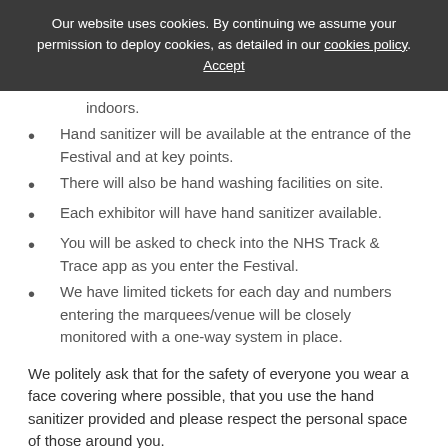Our website uses cookies. By continuing we assume your permission to deploy cookies, as detailed in our cookies policy. Accept
indoors.
Hand sanitizer will be available at the entrance of the Festival and at key points.
There will also be hand washing facilities on site.
Each exhibitor will have hand sanitizer available.
You will be asked to check into the NHS Track & Trace app as you enter the Festival.
We have limited tickets for each day and numbers entering the marquees/venue will be closely monitored with a one-way system in place.
We politely ask that for the safety of everyone you wear a face covering where possible, that you use the hand sanitizer provided and please respect the personal space of those around you.
We look forward to warmly welcoming you to Cheltenham Town Hall & Mill Marsh Park, Bovey Tracey.